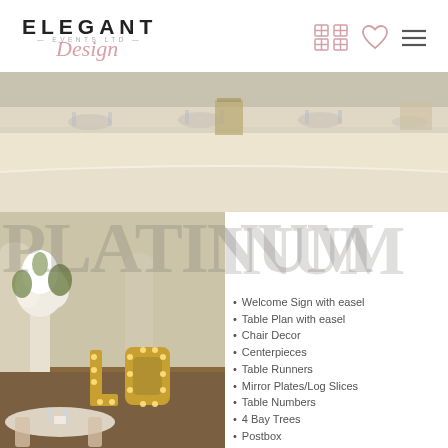[Figure (logo): Elegant Events Ltd Design logo with navigation icons]
[Figure (photo): Top-down view of an elegantly set long banquet table with white tablecloth, glassware, plates, and centerpieces]
[Figure (photo): Wedding reception hall with floral centerpieces, lit LO letter lights, round tables with chairs]
PLATINUM
Welcome Sign with easel
Table Plan with easel
Chair Decor
Centerpieces
Table Runners
Mirror Plates/Log Slices
Table Numbers
4 Bay Trees
Postbox
FULLY STOCKED Sweet Stall
Top Table Decor